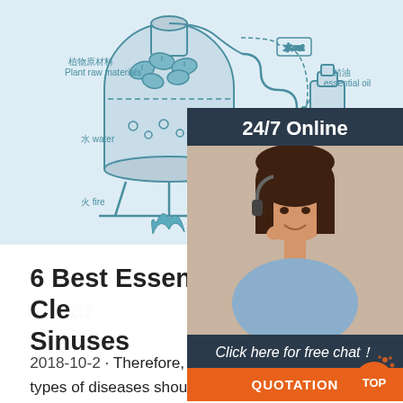[Figure (illustration): Scientific distillation diagram showing plant raw materials (植物原材料 Plant raw materials), water (水 water), fire (火 fire), a condenser coil, essential oil bottle (精油 essential oil), and hydrosol container (纯露 Hydrosol). Diagram drawn in teal/blue line art on light blue background.]
[Figure (photo): 24/7 Online chat widget with dark navy background showing a smiling woman with headset, with 'Click here for free chat!' text and an orange QUOTATION button.]
6 Best Essential Oils To Clear Sinuses
2018-10-2 · Therefore, for the treatment of several types of diseases should also be used different oils. There are used for pile, cough, sore throat, shortness of breath, muscle aches, and now we will see some essential oils to clear sinuses and congestion. 1. Eucalyptus. Eucalyptus oil is one of the most